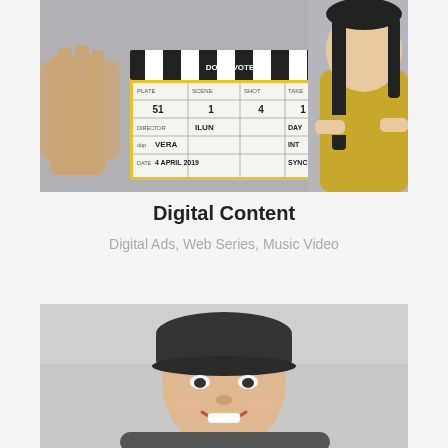[Figure (photo): A film clapperboard being held up with a woman in yellow top standing behind it with arms crossed, against a gray background. The clapperboard reads: DON'T VOTE, PLATE 51, SCENE 1, SHOT 4, TAKE 1, DIRECTOR: ILUN, DAY, DOP: VERA, INT, DATE: 4 APRIL 2019, SYNC]
Digital Content
Digital Ads, Web Series, Music Video
[Figure (photo): A smiling man wearing a dark baseball cap, photographed against a light gray background, portrait style.]